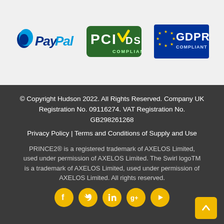[Figure (logo): PayPal logo with blue P icon and PayPal text]
[Figure (logo): PCI DSS Compliant badge with green background and checkmark]
[Figure (logo): GDPR Compliant badge with blue EU-style stars background]
© Copyright Hudson 2022. All Rights Reserved. Company UK Registration No. 09116274. VAT Registration No. GB298261268
Privacy Policy | Terms and Conditions of Supply and Use
PRINCE2® is a registered trademark of AXELOS Limited, used under permission of AXELOS Limited. The Swirl logoTM is a trademark of AXELOS Limited, used under permission of AXELOS Limited. All rights reserved.
[Figure (infographic): Social media icons row: Facebook, Twitter, LinkedIn, Google+, YouTube — yellow circles with white icons. Back to top yellow button with up arrow in bottom right.]